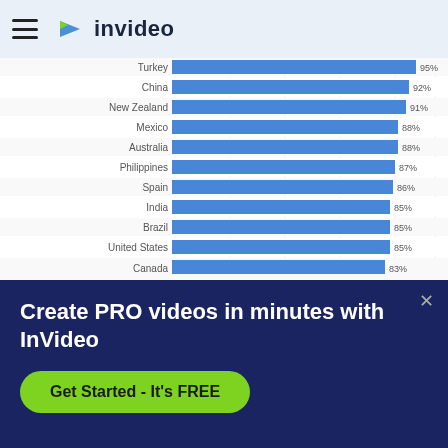invideo
[Figure (bar-chart): Social media usage by country]
Create PRO videos in minutes with InVideo
Get Started - It's FREE